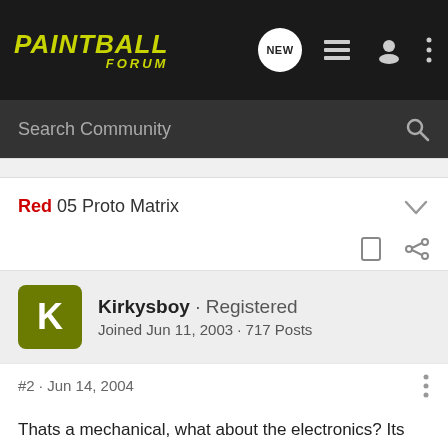PAINTBALL FORUM
Search Community
Red 05 Proto Matrix
Kirkysboy · Registered
Joined Jun 11, 2003 · 717 Posts
#2 · Jun 14, 2004
Thats a mechanical, what about the electronics? Its basically the same but with a micro-switch and a circuit board which the microswitch activates the solenoid to trip the sear.